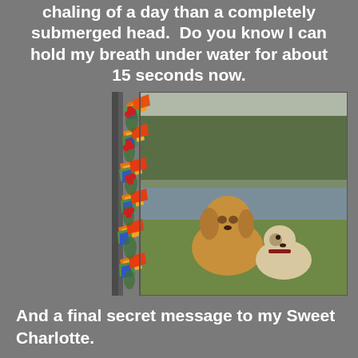chaling of a day than a completely submerged head.  Do you know I can hold my breath under water for about 15 seconds now.
[Figure (photo): Two dogs sitting on grass near a river with trees in the background. A golden retriever and a smaller white and tan dog wearing a red collar. The image has a decorative border of orange bird-of-paradise flowers on the left side.]
And a final secret message to my Sweet Charlotte.